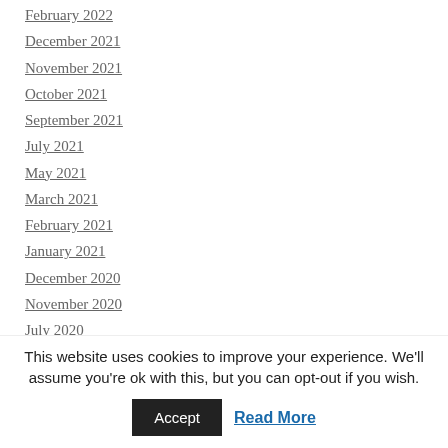February 2022
December 2021
November 2021
October 2021
September 2021
July 2021
May 2021
March 2021
February 2021
January 2021
December 2020
November 2020
July 2020
June 2020
May 2020
This website uses cookies to improve your experience. We'll assume you're ok with this, but you can opt-out if you wish.
Accept  Read More